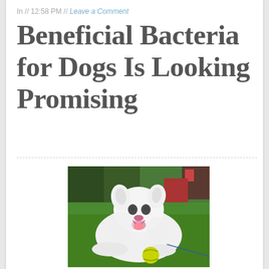In // 12:58 PM // Leave a Comment
Beneficial Bacteria for Dogs Is Looking Promising
[Figure (photo): A fluffy white dog lying on green grass in a park, smiling with mouth open, with a yellow tennis ball in front of it. Trees and buildings visible in the background.]